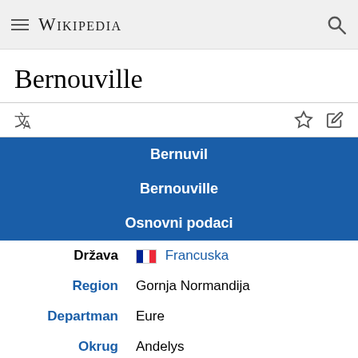Wikipedia
Bernouville
|  |  |
| --- | --- |
| Bernuvil |  |
| Bernouville |  |
| Osnovni podaci |  |
| Država | Francuska |
| Region | Gornja Normandija |
| Departman | Eure |
| Okrug | Andelys |
| Kanton | Žizo |
| Stanovništvo |  |